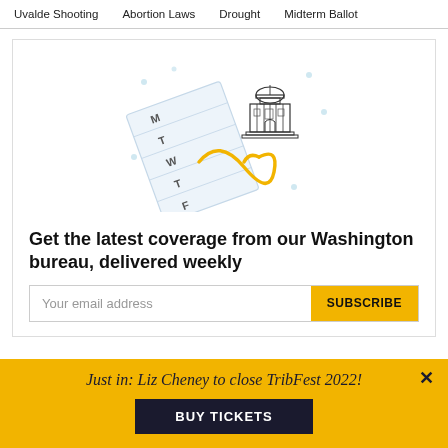Uvalde Shooting   Abortion Laws   Drought   Midterm Ballot
[Figure (illustration): Illustration of a curling calendar page with days M, T, W, T, F labeled, a Texas state capitol building, and a yellow looping ribbon/cursor element, with small dot decorations on a white background.]
Get the latest coverage from our Washington bureau, delivered weekly
Your email address
SUBSCRIBE
Just in: Liz Cheney to close TribFest 2022!
BUY TICKETS